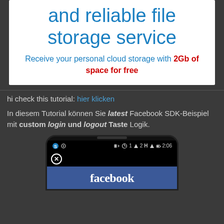and reliable file storage service
Receive your personal cloud storage with 2Gb of space for free
hi check this tutorial: hier klicken
In diesem Tutorial können Sie latest Facebook SDK-Beispiel mit custom login und logout Taste Logik.
[Figure (screenshot): Screenshot of a mobile phone showing the Facebook login screen with status bar]